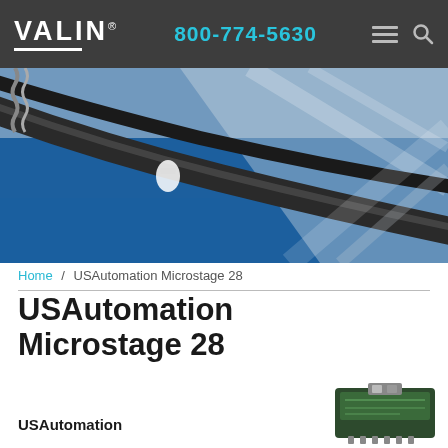VALIN® | 800-774-5630
[Figure (photo): Industrial hero image showing cables, mechanical components, and structural elements with blue and gray tones]
Home / USAutomation Microstage 28
USAutomation Microstage 28
USAutomation
[Figure (photo): Small product thumbnail of USAutomation Microstage 28 device, appears green/black colored component]